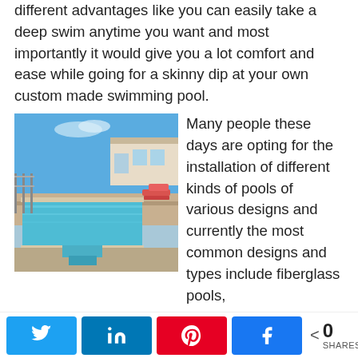different advantages like you can easily take a deep swim anytime you want and most importantly it would give you a lot comfort and ease while going for a skinny dip at your own custom made swimming pool.
[Figure (photo): Outdoor luxury swimming pool with blue water, wooden deck, lounge chairs, and a house in the background under a clear sky.]
Many people these days are opting for the installation of different kinds of pools of various designs and currently the most common designs and types include fiberglass pools, gunite pool, concrete pools and also vinyl pools. These all the pools have their own pros and cons. Depending the situation and requirements of yours you can select
0 SHARES (Twitter, LinkedIn, Pinterest, Facebook share buttons)